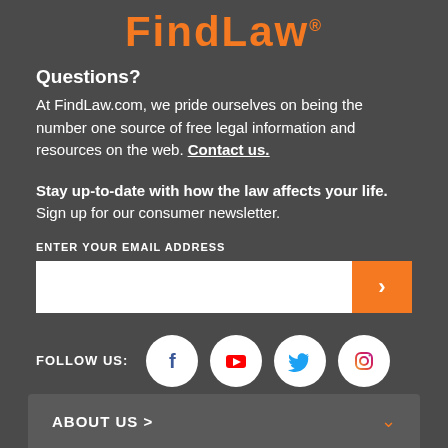FindLaw®
Questions?
At FindLaw.com, we pride ourselves on being the number one source of free legal information and resources on the web. Contact us.
Stay up-to-date with how the law affects your life. Sign up for our consumer newsletter.
ENTER YOUR EMAIL ADDRESS
[Figure (other): Email input field with orange submit arrow button]
FOLLOW US:
[Figure (infographic): Social media icons: Facebook, YouTube, Twitter, Instagram in white circles]
ABOUT US >